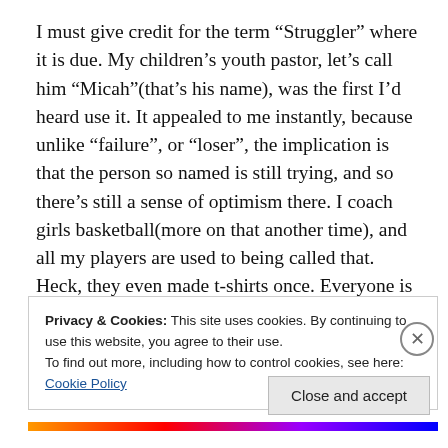I must give credit for the term “Struggler” where it is due. My children’s youth pastor, let’s call him “Micah”(that’s his name), was the first I’d heard use it. It appealed to me instantly, because unlike “failure”, or “loser”, the implication is that the person so named is still trying, and so there’s still a sense of optimism there. I coach girls basketball(more on that another time), and all my players are used to being called that. Heck, they even made t-shirts once. Everyone is a struggler. I’m a struggler; so are
Privacy & Cookies: This site uses cookies. By continuing to use this website, you agree to their use.
To find out more, including how to control cookies, see here: Cookie Policy
Close and accept